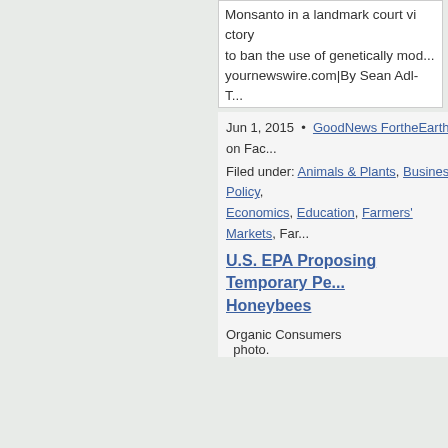Monsanto in a landmark court victory to ban the use of genetically mo... yournewswire.com|By Sean Adl-T...
Jun 1, 2015 • GoodNews FortheEarth on Fac...
Filed under: Animals & Plants, Business Policy, Economics, Education, Farmers' Markets, Far... Labelling, GMO Lawsuits, GMO set backs, GM... Materials, Organic Farming, Pesticides, Plants...
U.S. EPA Proposing Temporary Pe... Honeybees
[Figure (photo): Organic Consumers photo placeholder image]